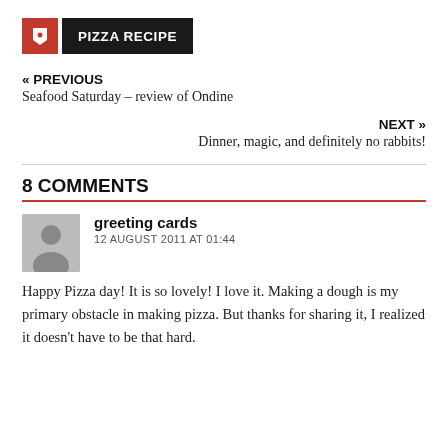[Figure (logo): Red tag icon and black label reading PIZZA RECIPE]
« PREVIOUS
Seafood Saturday – review of Ondine
NEXT »
Dinner, magic, and definitely no rabbits!
8 COMMENTS
greeting cards
12 AUGUST 2011 AT 01:44
Happy Pizza day! It is so lovely! I love it. Making a dough is my primary obstacle in making pizza. But thanks for sharing it, I realized it doesn't have to be that hard.